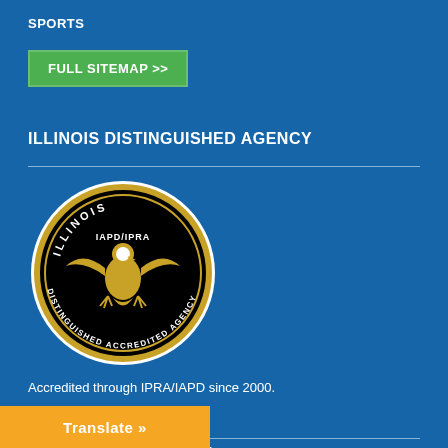SPORTS
FULL SITEMAP >>
ILLINOIS DISTINGUISHED AGENCY
[Figure (logo): Illinois IAPD/IPRA Distinguished Accredited Agency circular badge/seal with an eagle in the center on black background with gold border and text]
Accredited through IPRA/IAPD since 2000.
STAY CONNECTED
[Figure (infographic): Social media icons row: Facebook, Twitter, YouTube, Instagram, Email/envelope]
Translate »